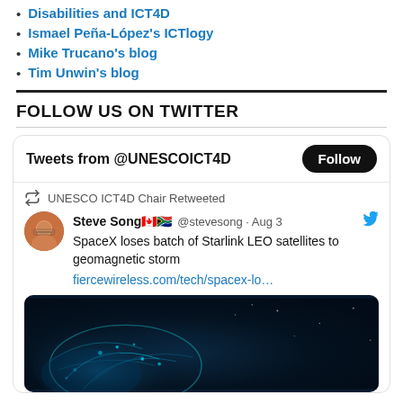Disabilities and ICT4D
Ismael Peña-López's ICTlogy
Mike Trucano's blog
Tim Unwin's blog
FOLLOW US ON TWITTER
[Figure (screenshot): Twitter widget showing Tweets from @UNESCOICT4D with a Follow button. Contains a retweet from UNESCO ICT4D Chair of a tweet by Steve Song (@stevesong) dated Aug 3 about SpaceX losing Starlink LEO satellites to geomagnetic storm, with a link to fiercewireless.com/tech/spacex-lo… and a dark space/satellite image.]